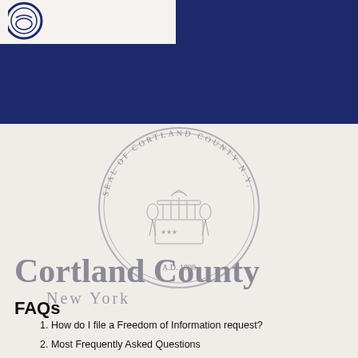[Figure (logo): Cortland County circular logo/seal partial view in blue, shown in white header strip at top left]
[Figure (illustration): Official Seal of Cortland County, New York - circular seal with text 'SEAL OF CORTLAND COUNTY N.Y.' around the border and 'A.D. 1808' at the bottom, with figural scene in the center]
Cortland County
New York
FAQs
1. How do I file a Freedom of Information request?
2. Most Frequently Asked Questions